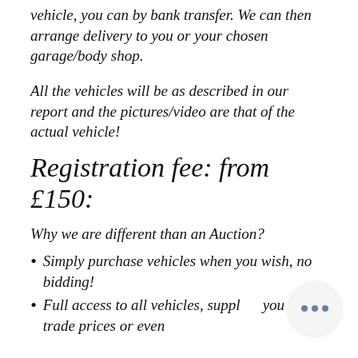vehicle, you can by bank transfer. We can then arrange delivery to you or your chosen garage/body shop.
All the vehicles will be as described in our report and the pictures/video are that of the actual vehicle!
Registration fee: from £150:
Why we are different than an Auction?
Simply purchase vehicles when you wish, no bidding!
Full access to all vehicles, supplied you at trade prices or even